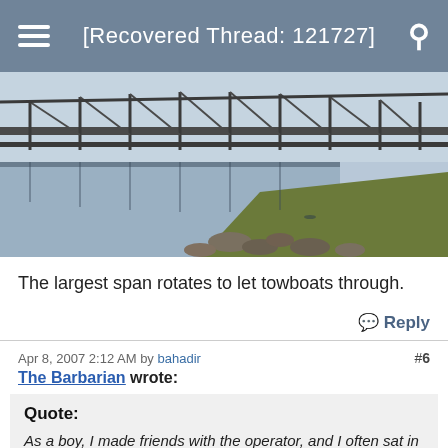[Recovered Thread: 121727]
[Figure (photo): A steel railroad/road bridge spanning a wide river, viewed from a rocky shoreline with grass on the right bank. The bridge and its reflection are visible in the calm water.]
The largest span rotates to let towboats through.
Reply
Apr 8, 2007 2:12 AM by bahadir  #6
The Barbarian wrote:
Quote:
As a boy, I made friends with the operator, and I often sat in the operator's house on the bridge, as he made the center span swing around, using controls that reminded